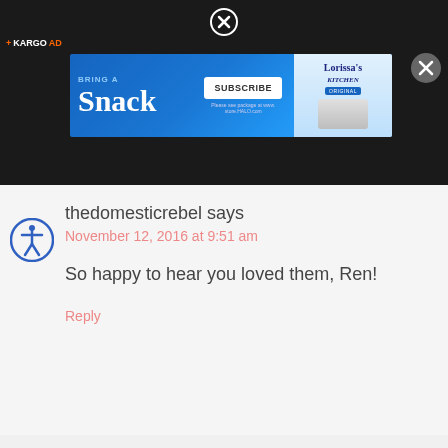[Figure (screenshot): Dark top bar with Kargo Ad label, close buttons, and a blue advertisement banner for Lorissa's Kitchen snacks with 'Bring a Snack' and 'Subscribe' text]
thedomesticrebel says
November 12, 2016 at 9:51 am
So happy to hear you loved them, Ren!
Reply